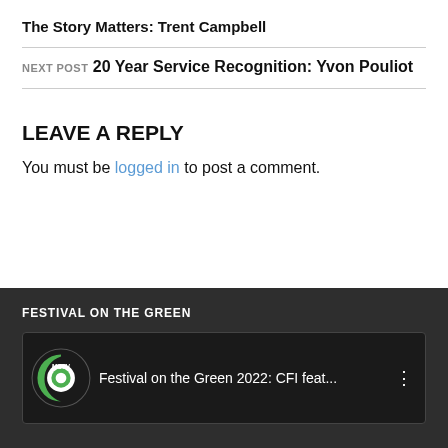The Story Matters: Trent Campbell
NEXT POST
20 Year Service Recognition: Yvon Pouliot
LEAVE A REPLY
You must be logged in to post a comment.
FESTIVAL ON THE GREEN
[Figure (screenshot): YouTube-style video thumbnail showing MCTV logo and title 'Festival on the Green 2022: CFI feat...']